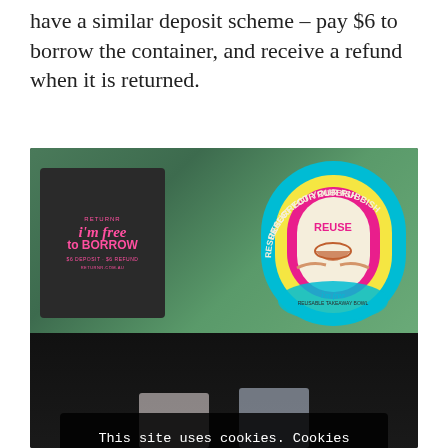have a similar deposit scheme – pay $6 to borrow the container, and receive a refund when it is returned.
[Figure (photo): Photo of reusable takeaway containers. Shows a dark card reading 'I'm free to borrow – $6 deposit / $6 refund' (by Returnr), next to a colorful sticker reading 'Resurrect Your Rubbish – REUSE' with an arch design and hands holding a bowl. A cookie consent overlay reads 'This site uses cookies. Cookies enable me to personalise your experience on this site so I can improve my content and communications.' with a button 'I'm okay with that'. Bottom shows two clear reusable containers on a wooden table.]